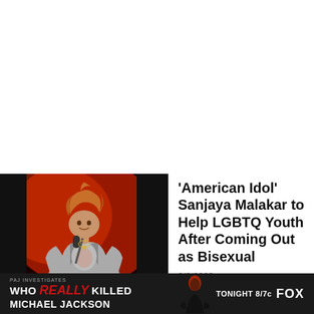[Figure (photo): Photo of Sanjaya Malakar performing on stage at American Idol, holding a microphone, wearing a grey jacket, with red stage lighting in the background.]
'American Idol' Sanjaya Malakar to Help LGBTQ Youth After Coming Out as Bisexual
9/6/2022
[Figure (infographic): Advertisement banner for Fox show 'Who Really Killed Michael Jackson' reading 'PAJ INVESTIGATES / WHO REALLY KILLED / MICHAEL JACKSON / TONIGHT 8/7c FOX' with a silhouette image on dark background.]